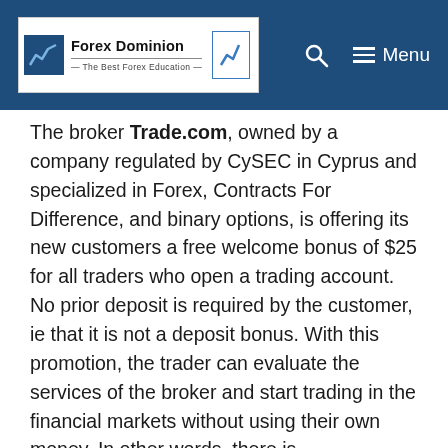Forex Dominion - The Best Forex Education
The broker Trade.com, owned by a company regulated by CySEC in Cyprus and specialized in Forex, Contracts For Difference, and binary options, is offering its new customers a free welcome bonus of $25 for all traders who open a trading account. No prior deposit is required by the customer, ie that it is not a deposit bonus. With this promotion, the trader can evaluate the services of the broker and start trading in the financial markets without using their own money. In other words, there is